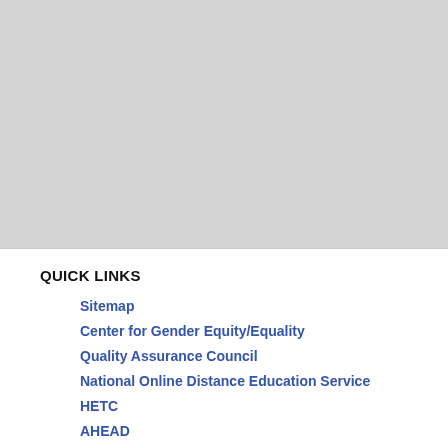QUICK LINKS
Sitemap
Center for Gender Equity/Equality
Quality Assurance Council
National Online Distance Education Service
HETC
AHEAD
LEARN
eduID - a lifelong Identity
Ministry of Higher Education
Government of Sri Lanka
Copyright © 2022 University Gra